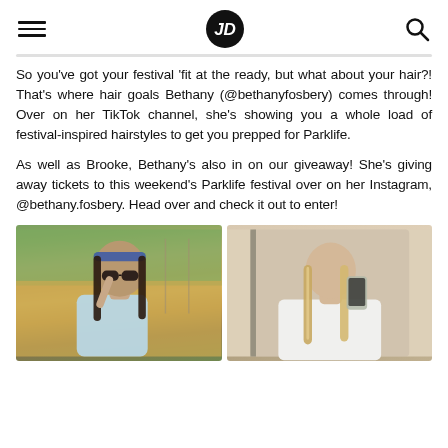JD (logo)
So you've got your festival 'fit at the ready, but what about your hair?! That's where hair goals Bethany (@bethanyfosbery) comes through! Over on her TikTok channel, she's showing you a whole load of festival-inspired hairstyles to get you prepped for Parklife.
As well as Brooke, Bethany's also in on our giveaway! She's giving away tickets to this weekend's Parklife festival over on her Instagram, @bethany.fosbery. Head over and check it out to enter!
[Figure (photo): Young woman outdoors wearing sunglasses and a light blue strapless top, holding sunglasses, with dark long hair and a headband, outdoor field in background]
[Figure (photo): Young woman taking a mirror selfie wearing a white blazer, with long blonde highlighted hair, holding a phone]